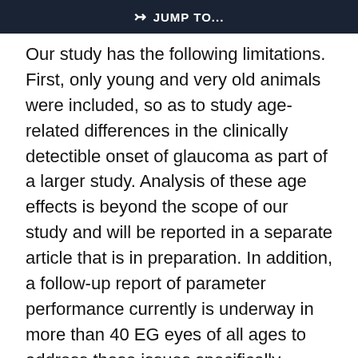JUMP TO...
Our study has the following limitations. First, only young and very old animals were included, so as to study age-related differences in the clinically detectible onset of glaucoma as part of a larger study. Analysis of these age effects is beyond the scope of our study and will be reported in a separate article that is in preparation. In addition, a follow-up report of parameter performance currently is underway in more than 40 EG eyes of all ages to address these issues specifically.
At the beginning of our study, standard 870-nm SD-OCT was the most advanced OCT imaging technique, and enhanced depth imaging and 1050-nm imaging were not yet available. While we b
This site uses cookies. By continuing to use our website, you are agreeing to our privacy policy. Accept